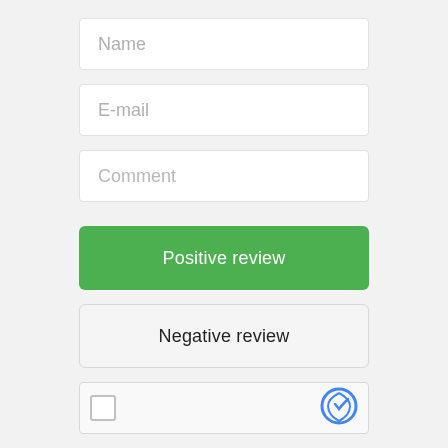[Figure (screenshot): Web form with Name, E-mail, Comment input fields, Positive review and Negative review buttons, and a reCAPTCHA widget at the bottom.]
Name
E-mail
Comment
Positive review
Negative review